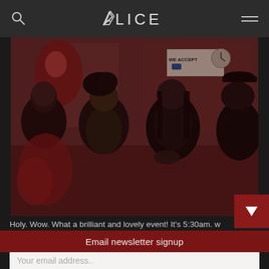ALICE
[Figure (photo): Four people posing for a photo in front of a storefront with a 'WE ACCEPT' sign. The group appears to be a band or music group with dramatic expressions and gothic/alternative styling. The image has a desaturated red and dark tone.]
Holy. Wow. What a brilliant and lovely event! It's 5:30am. w
Email newsletter signup
Your email address..
SUBSCRIBE